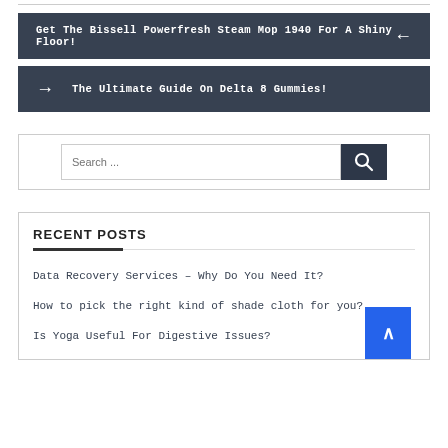Get The Bissell Powerfresh Steam Mop 1940 For A Shiny Floor!
The Ultimate Guide On Delta 8 Gummies!
[Figure (other): Search bar with search button]
RECENT POSTS
Data Recovery Services – Why Do You Need It?
How to pick the right kind of shade cloth for you?
Is Yoga Useful For Digestive Issues?